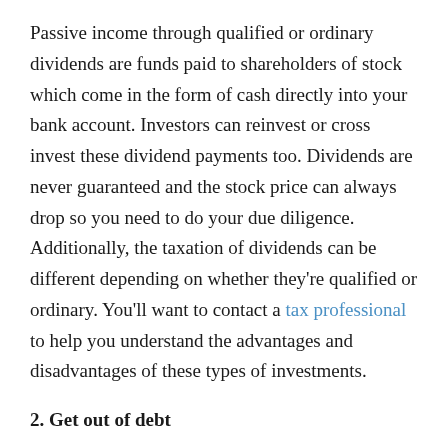Passive income through qualified or ordinary dividends are funds paid to shareholders of stock which come in the form of cash directly into your bank account. Investors can reinvest or cross invest these dividend payments too. Dividends are never guaranteed and the stock price can always drop so you need to do your due diligence. Additionally, the taxation of dividends can be different depending on whether they're qualified or ordinary. You'll want to contact a tax professional to help you understand the advantages and disadvantages of these types of investments.
2. Get out of debt
Some debt can be good, depending on how you